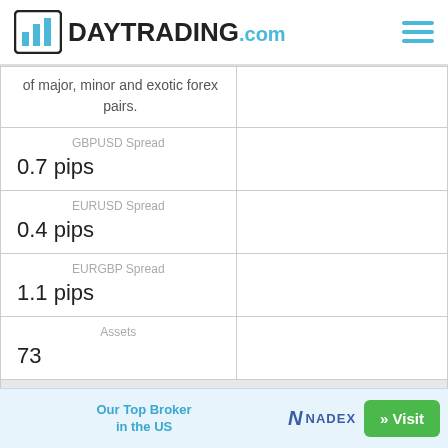[Figure (logo): DayTrading.com logo with bar chart icon and hamburger menu icon]
|  |  |
| --- | --- |
| of major, minor and exotic forex pairs. |  |
| GBPUSD Spread
0.7 pips |  |
| EURUSD Spread
0.4 pips |  |
| EURGBP Spread
1.1 pips |  |
| Assets
73 |  |
| Cryptocurrency |  |
| Skilling offer crypto trading on | Wealthfront supports |